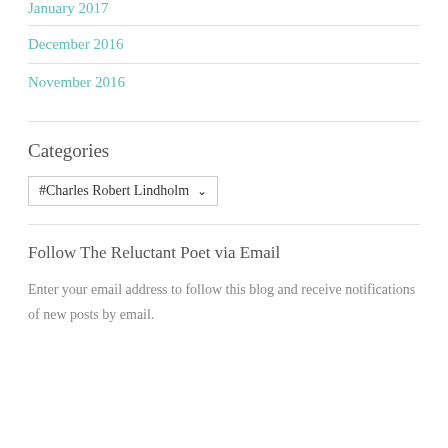January 2017
December 2016
November 2016
Categories
#Charles Robert Lindholm
Follow The Reluctant Poet via Email
Enter your email address to follow this blog and receive notifications of new posts by email.